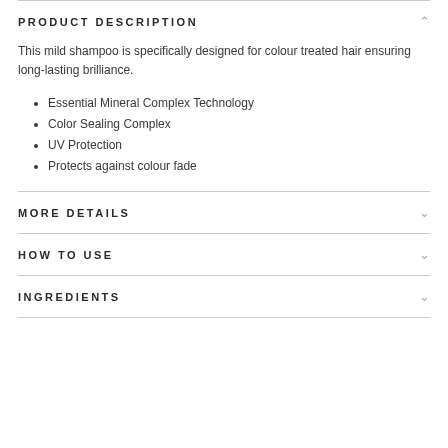PRODUCT DESCRIPTION
This mild shampoo is specifically designed for colour treated hair ensuring long-lasting brilliance.
Essential Mineral Complex Technology
Color Sealing Complex
UV Protection
Protects against colour fade
MORE DETAILS
HOW TO USE
INGREDIENTS